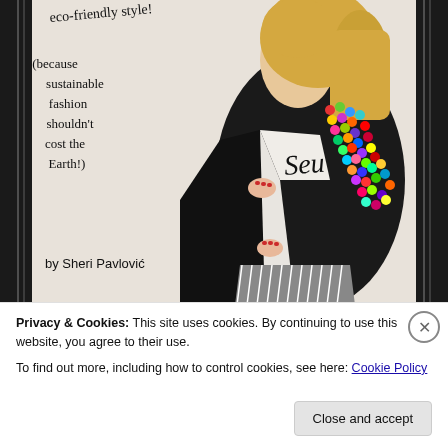[Figure (photo): Book cover image showing a woman with blonde hair wearing a black blazer with colorful pom-pom decorations on the lapel, holding it open. She has a white graphic tee underneath and striped skirt. Handwritten-style text overlaid on the left side reads 'eco-friendly style!' at top, then '(because sustainable fashion shouldn't cost the Earth!)' in the middle, and 'by Sheri Pavlović' at the bottom.]
Privacy & Cookies: This site uses cookies. By continuing to use this website, you agree to their use.
To find out more, including how to control cookies, see here: Cookie Policy